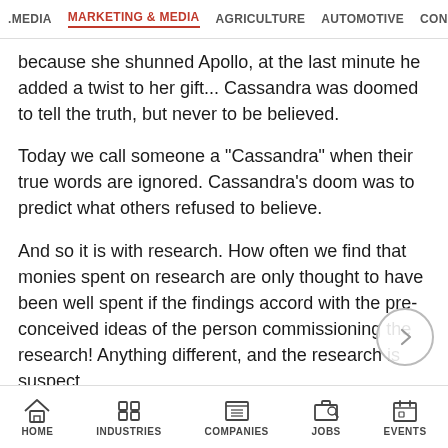.MEDIA  MARKETING & MEDIA  AGRICULTURE  AUTOMOTIVE  CONSTRU
because she shunned Apollo, at the last minute he added a twist to her gift... Cassandra was doomed to tell the truth, but never to be believed.
Today we call someone a "Cassandra" when their true words are ignored. Cassandra's doom was to predict what others refused to believe.
And so it is with research. How often we find that monies spent on research are only thought to have been well spent if the findings accord with the pre-conceived ideas of the person commissioning the research! Anything different, and the research is suspect.
Research is the Cassandra in the marketing equation. If
HOME  INDUSTRIES  COMPANIES  JOBS  EVENTS